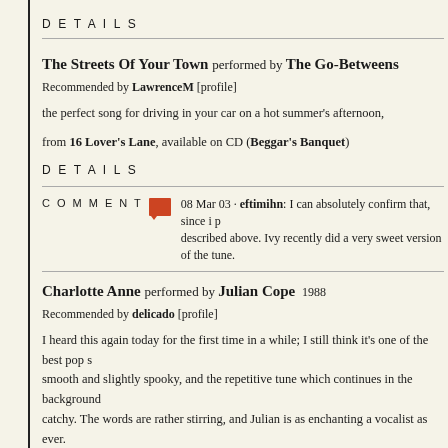DETAILS
The Streets Of Your Town performed by The Go-Betweens
Recommended by LawrenceM [profile]
the perfect song for driving in your car on a hot summer's afternoon,
from 16 Lover's Lane, available on CD (Beggar's Banquet)
DETAILS
COMMENT   08 Mar 03 · eftimihn: I can absolutely confirm that, since i p described above. Ivy recently did a very sweet version of the tune.
Charlotte Anne performed by Julian Cope 1988
Recommended by delicado [profile]
I heard this again today for the first time in a while; I still think it's one of the best pop s smooth and slightly spooky, and the repetitive tune which continues in the background catchy. The words are rather stirring, and Julian is as enchanting a vocalist as ever.
from My Nation Underground (Island)